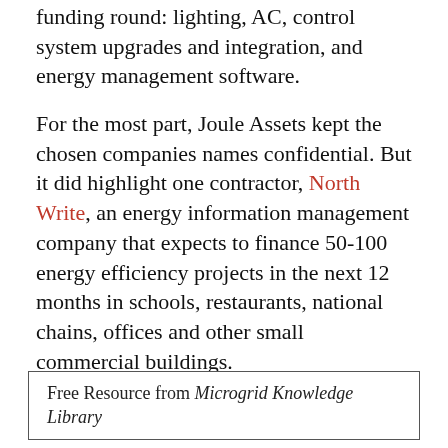funding round: lighting, AC, control system upgrades and integration, and energy management software.
For the most part, Joule Assets kept the chosen companies names confidential. But it did highlight one contractor, North Write, an energy information management company that expects to finance 50-100 energy efficiency projects in the next 12 months in schools, restaurants, national chains, offices and other small commercial buildings.
Free Resource from Microgrid Knowledge Library